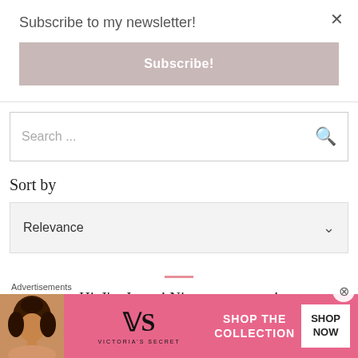Subscribe to my newsletter!
Subscribe!
Search ...
Sort by
Relevance
Hi, I'm Jenny! Nice to meet you!
Advertisements
[Figure (infographic): Victoria's Secret advertisement banner with model photo, VS logo, 'SHOP THE COLLECTION' text, and 'SHOP NOW' button on pink background]